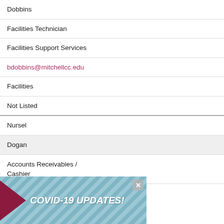| Dobbins |
| Facilities Technician |
| Facilities Support Services |
| bdobbins@mitchellcc.edu |
| Facilities |
| Not Listed |
| Nursel |
| Dogan |
| Accounts Receivables / Cashier |
[Figure (infographic): COVID-19 UPDATES! banner with teal diagonal striped background, dark red arrow on left, white bold italic text, and X close button]